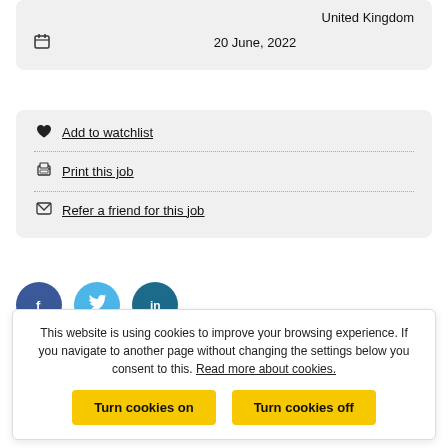United Kingdom
20 June, 2022
Add to watchlist
Print this job
Refer a friend for this job
[Figure (illustration): Three social media sharing buttons: Facebook (dark blue circle), Twitter (light blue circle), LinkedIn (dark teal circle)]
This website is using cookies to improve your browsing experience. If you navigate to another page without changing the settings below you consent to this. Read more about cookies.
Turn cookies on
Turn cookies off